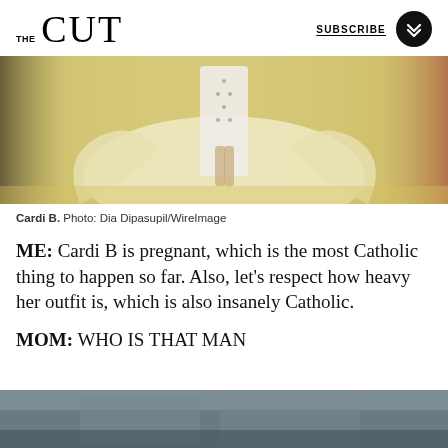THE CUT | SUBSCRIBE
[Figure (photo): Photo of Cardi B in a large ivory/cream satin gown with embellished bodice at what appears to be a red carpet event]
Cardi B. Photo: Dia Dipasupil/WireImage
ME: Cardi B is pregnant, which is the most Catholic thing to happen so far. Also, let's respect how heavy her outfit is, which is also insanely Catholic.
MOM: WHO IS THAT MAN
[Figure (photo): Partial photo visible at bottom of page showing a building exterior or street scene in muted grays]